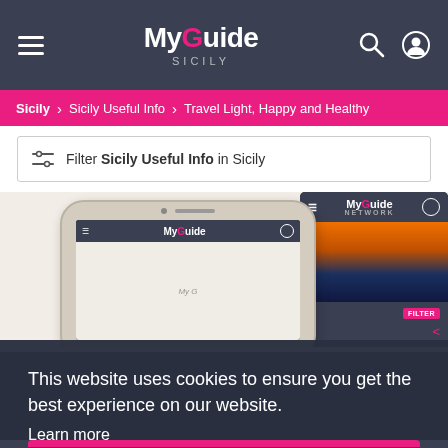MyGuide SICILY — navigation bar with hamburger menu, search icon, profile icon
Sicily > Sicily Useful Info > Travel Light, Happy and Healthy
Filter Sicily Useful Info in Sicily
[Figure (screenshot): Screenshot of MyGuide website showing a smartphone and tablet device mockup with the MyGuide app displayed. The phone shows the MyGuide interface and the tablet shows a sunset landscape image.]
This website uses cookies to ensure you get the best experience on our website.
Learn more
Got it!